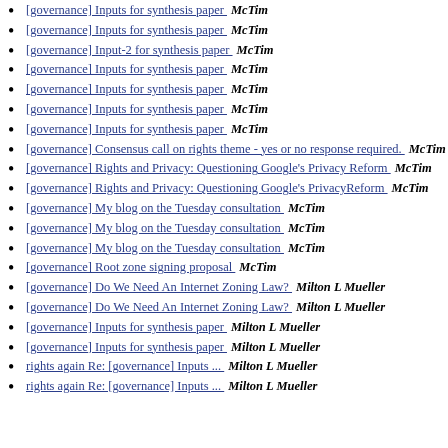[governance] Inputs for synthesis paper  McTim
[governance] Inputs for synthesis paper  McTim
[governance] Input-2 for synthesis paper  McTim
[governance] Inputs for synthesis paper  McTim
[governance] Inputs for synthesis paper  McTim
[governance] Inputs for synthesis paper  McTim
[governance] Inputs for synthesis paper  McTim
[governance] Consensus call on rights theme - yes or no response required.  McTim
[governance] Rights and Privacy: Questioning Google's Privacy Reform  McTim
[governance] Rights and Privacy: Questioning Google's PrivacyReform  McTim
[governance] My blog on the Tuesday consultation  McTim
[governance] My blog on the Tuesday consultation  McTim
[governance] My blog on the Tuesday consultation  McTim
[governance] Root zone signing proposal  McTim
[governance] Do We Need An Internet Zoning Law?  Milton L Mueller
[governance] Do We Need An Internet Zoning Law?  Milton L Mueller
[governance] Inputs for synthesis paper  Milton L Mueller
[governance] Inputs for synthesis paper  Milton L Mueller
rights again Re: [governance] Inputs ...  Milton L Mueller
rights again Re: [governance] Inputs ...  Milton L Mueller